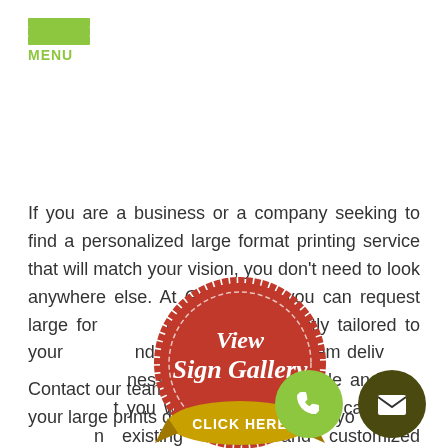MENU
If you are a business or a company seeking to find a personalized large format printing service that will match your vision, you don't need to look anywhere else. At Grafx Plus, you can request large format prints that are perfectly tailored to your needs and purpose and get them delivered to your business within your schedule and in a quality that you will be proud of. We can even work on existing designs and customized requests.
[Figure (illustration): Red circular badge/seal with gold ribbon bottom reading 'CLICK HERE' and white script text 'View Sign Gallery' in the center]
Contact our team today to learn how to get your large prints done, and we'll guide you
[Figure (illustration): Green circle phone button icon]
[Figure (illustration): Dark olive/black circle email envelope button icon]